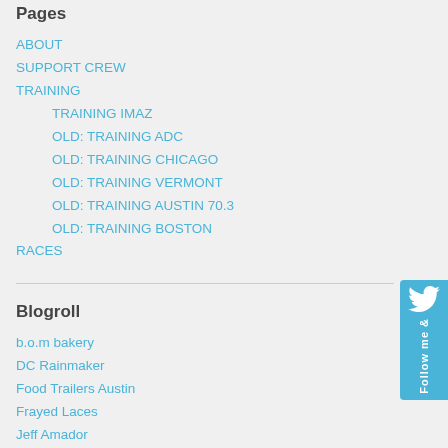Pages
ABOUT
SUPPORT CREW
TRAINING
TRAINING IMAZ
OLD: TRAINING ADC
OLD: TRAINING CHICAGO
OLD: TRAINING VERMONT
OLD: TRAINING AUSTIN 70.3
OLD: TRAINING BOSTON
RACES
Blogroll
b.o.m bakery
DC Rainmaker
Food Trailers Austin
Frayed Laces
Jeff Amador
Categories
asian (5)